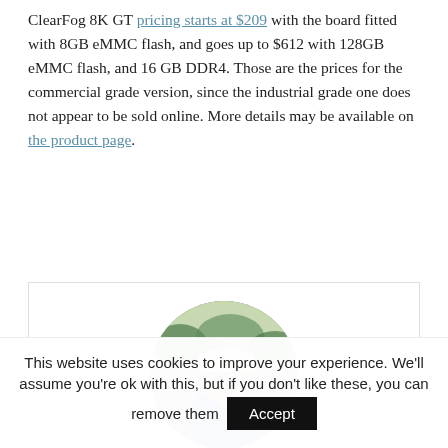ClearFog 8K GT pricing starts at $209 with the board fitted with 8GB eMMC flash, and goes up to $612 with 128GB eMMC flash, and 16 GB DDR4. Those are the prices for the commercial grade version, since the industrial grade one does not appear to be sold online. More details may be available on the product page.
[Figure (photo): Circular avatar photo of a person wearing a blue shirt and cap, outdoors with trees in background.]
This website uses cookies to improve your experience. We'll assume you're ok with this, but if you don't like these, you can remove them  Accept